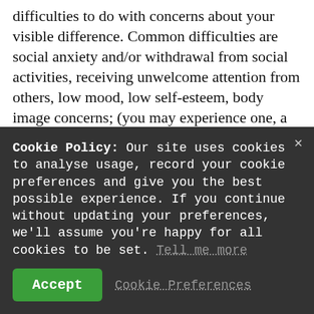difficulties to do with concerns about your visible difference. Common difficulties are social anxiety and/or withdrawal from social activities, receiving unwelcome attention from others, low mood, low self-esteem, body image concerns; (you may experience one, a few, or all of these difficulties) AND
Cookie Policy: Our site uses cookies to analyse usage, record your cookie preferences and give you the best possible experience. If you continue without updating your preferences, we'll assume you're happy for all cookies to be set. Tell me more
Accept
Cookie Preferences